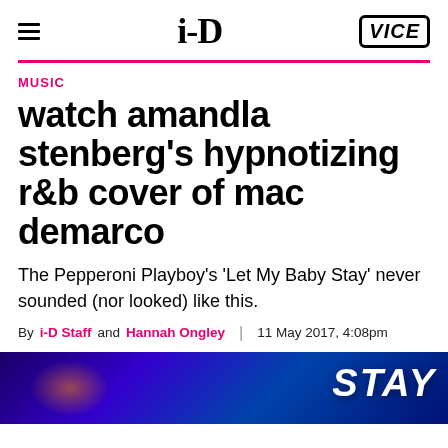i-D | VICE
MUSIC
watch amandla stenberg's hypnotizing r&b cover of mac demarco
The Pepperoni Playboy's 'Let My Baby Stay' never sounded (nor looked) like this.
By i-D Staff and Hannah Ongley | 11 May 2017, 4:08pm
[Figure (photo): Dark blue/purple lit photo strip at the bottom showing a partial scene with the word STAY visible in stylized text on the right side]